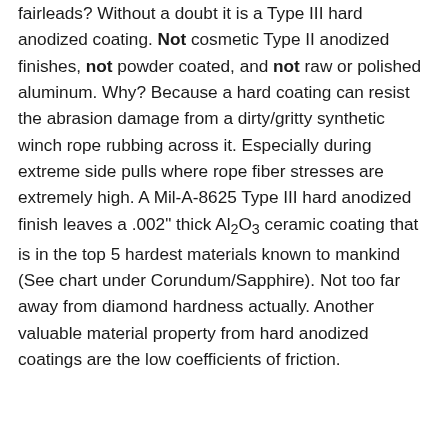fairleads? Without a doubt it is a Type III hard anodized coating. Not cosmetic Type II anodized finishes, not powder coated, and not raw or polished aluminum. Why? Because a hard coating can resist the abrasion damage from a dirty/gritty synthetic winch rope rubbing across it. Especially during extreme side pulls where rope fiber stresses are extremely high. A Mil-A-8625 Type III hard anodized finish leaves a .002" thick Al2O3 ceramic coating that is in the top 5 hardest materials known to mankind (See chart under Corundum/Sapphire). Not too far away from diamond hardness actually. Another valuable material property from hard anodized coatings are the low coefficients of friction.